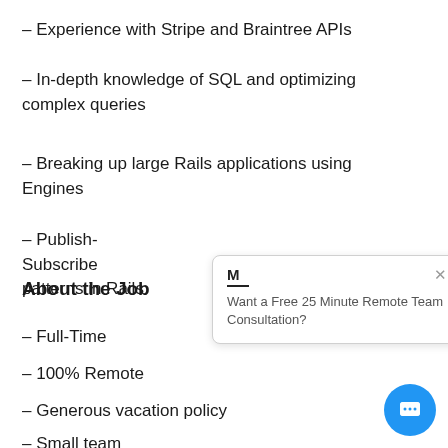– Experience with Stripe and Braintree APIs
– In-depth knowledge of SQL and optimizing complex queries
– Breaking up large Rails applications using Engines
– Publish-Subscribe patterns in Rails
About the Job
– Full-Time
– 100% Remote
– Generous vacation policy
– Small team
[Figure (screenshot): Chat popup with M logo, close button, and text 'Want a Free 25 Minute Remote Team Consultation?']